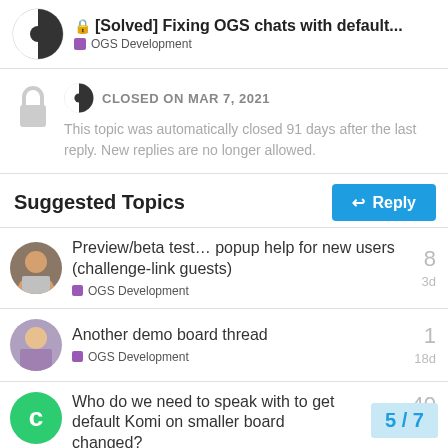[Solved] Fixing OGS chats with default... | OGS Development
CLOSED ON MAR 7, 2021
This topic was automatically closed 91 days after the last reply. New replies are no longer allowed.
Suggested Topics
Preview/beta test… popup help for new users (challenge-link guests) | OGS Development | 8 | 3d
Another demo board thread | OGS Development | 1 | 18d
Who do we need to speak with to get default Komi on smaller board changed?